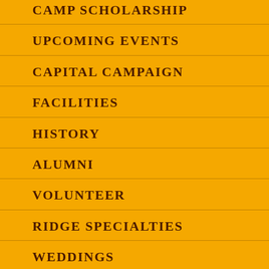CAMP SCHOLARSHIP
UPCOMING EVENTS
CAPITAL CAMPAIGN
FACILITIES
HISTORY
ALUMNI
VOLUNTEER
RIDGE SPECIALTIES
WEDDINGS
YEAR ROUND STAFF